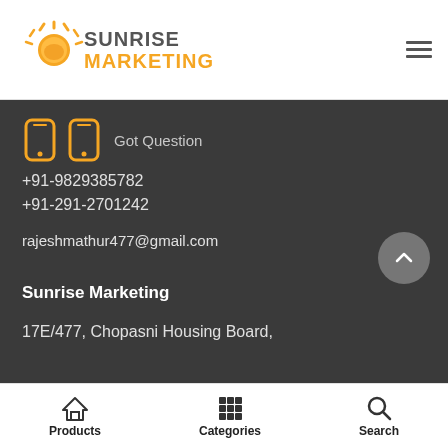[Figure (logo): Sunrise Marketing logo with sun icon and text]
Got Question
+91-9829385782
+91-291-2701242
rajeshmathur477@gmail.com
Sunrise Marketing
17E/477, Chopasni Housing Board,
Products  Categories  Search